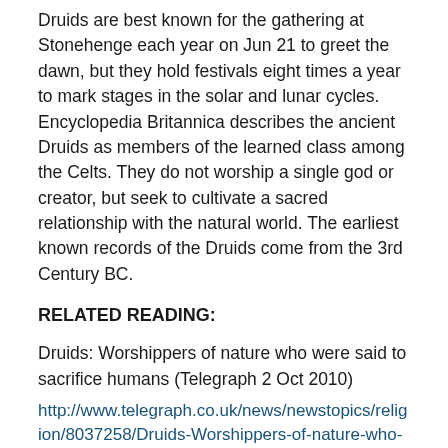Druids are best known for the gathering at Stonehenge each year on Jun 21 to greet the dawn, but they hold festivals eight times a year to mark stages in the solar and lunar cycles. Encyclopedia Britannica describes the ancient Druids as members of the learned class among the Celts. They do not worship a single god or creator, but seek to cultivate a sacred relationship with the natural world. The earliest known records of the Druids come from the 3rd Century BC.
RELATED READING:
Druids: Worshippers of nature who were said to sacrifice humans (Telegraph 2 Oct 2010)
http://www.telegraph.co.uk/news/newstopics/religion/8037258/Druids-Worshippers-of-nature-who-were-said-to-